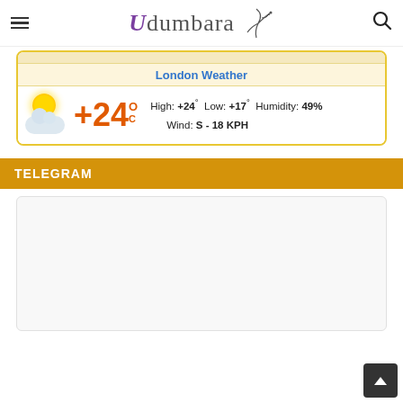Udumbara
London Weather  High: +24° Low: +17° Humidity: 49%  Wind: S - 18 KPH  +24°C
TELEGRAM
[Figure (other): Telegram widget placeholder (white/light grey box)]